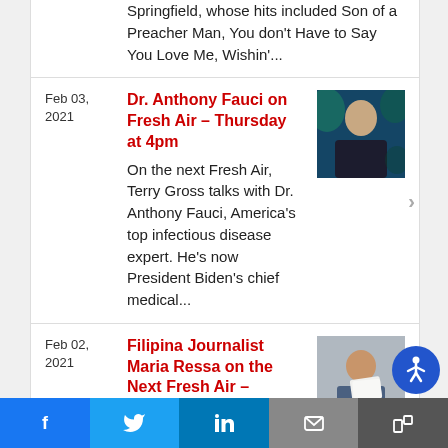Springfield, whose hits included Son of a Preacher Man, You don't Have to Say You Love Me, Wishin'...
Feb 03, 2021 — Dr. Anthony Fauci on Fresh Air – Thursday at 4pm. On the next Fresh Air, Terry Gross talks with Dr. Anthony Fauci, America's top infectious disease expert. He's now President Biden's chief medical...
Feb 02, 2021 — Filipina Journalist Maria Ressa on the Next Fresh Air – Wednesday at 4pm. On the next Fresh Air, Filipina journalist Maria Ressa. Her coverage of populist president Rodrigo Duterte has gotten her internet trolls, death...
Facebook | Twitter | LinkedIn | Email | Share